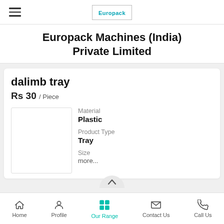Europack
Europack Machines (India) Private Limited
dalimb tray
Rs 30 / Piece
Material
Plastic
Product Type
Tray
Size
Home  Profile  Our Range  Contact Us  Call Us